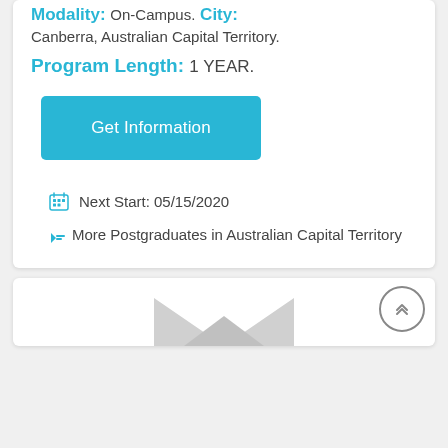Modality: On-Campus. City: Canberra, Australian Capital Territory.
Program Length: 1 YEAR.
Get Information
Next Start: 05/15/2020
More Postgraduates in Australian Capital Territory
[Figure (other): Gray triangle/play button shape at bottom of second card, with a back-to-top circular arrow button]